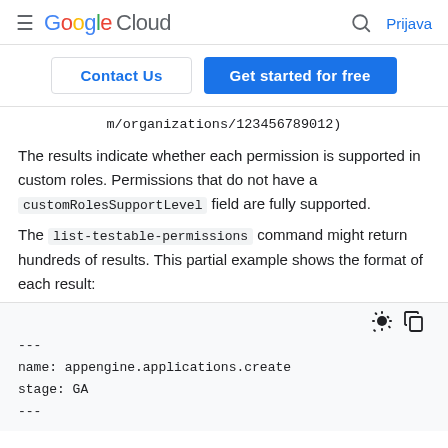≡ Google Cloud  🔍 Prijava
Contact Us   Get started for free
m/organizations/123456789012)
The results indicate whether each permission is supported in custom roles. Permissions that do not have a customRolesSupportLevel field are fully supported.
The list-testable-permissions command might return hundreds of results. This partial example shows the format of each result:
---
name: appengine.applications.create
stage: GA
---